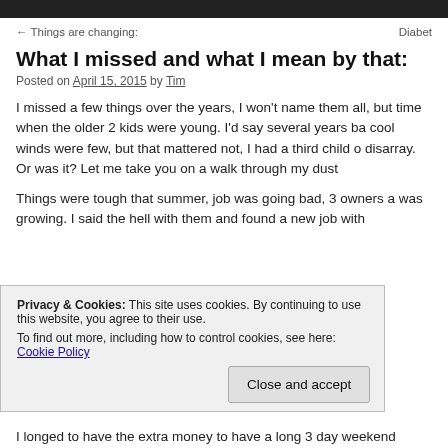← Things are changing:    Diabet
What I missed and what I mean by that:
Posted on April 15, 2015 by Tim
I missed a few things over the years, I won't name them all, but time when the older 2 kids were young. I'd say several years ba cool winds were few, but that mattered not, I had a third child o disarray. Or was it? Let me take you on a walk through my dust
Things were tough that summer, job was going bad, 3 owners a was growing. I said the hell with them and found a new job with
Privacy & Cookies: This site uses cookies. By continuing to use this website, you agree to their use.
To find out more, including how to control cookies, see here: Cookie Policy
I longed to have the extra money to have a long 3 day weekend